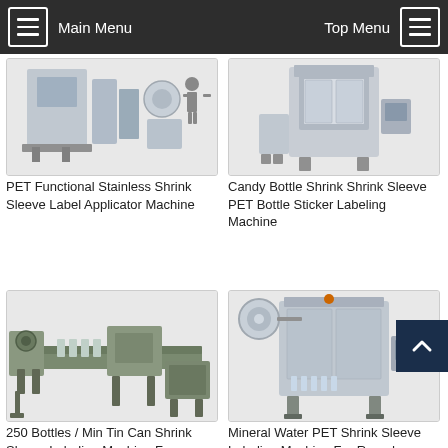Main Menu | Top Menu
[Figure (photo): PET Functional Stainless Shrink Sleeve Label Applicator Machine - industrial labeling machine photo]
PET Functional Stainless Shrink Sleeve Label Applicator Machine
[Figure (photo): Candy Bottle Shrink Shrink Sleeve PET Bottle Sticker Labeling Machine - industrial labeling machine photo]
Candy Bottle Shrink Shrink Sleeve PET Bottle Sticker Labeling Machine
[Figure (photo): 250 Bottles / Min Tin Can Shrink Sleeve Labeling Machine For - industrial labeling machine photo]
250 Bottles / Min Tin Can Shrink Sleeve Labeling Machine For
[Figure (photo): Mineral Water PET Shrink Sleeve Labeling Machine For Round - industrial labeling machine photo]
Mineral Water PET Shrink Sleeve Labeling Machine For Round